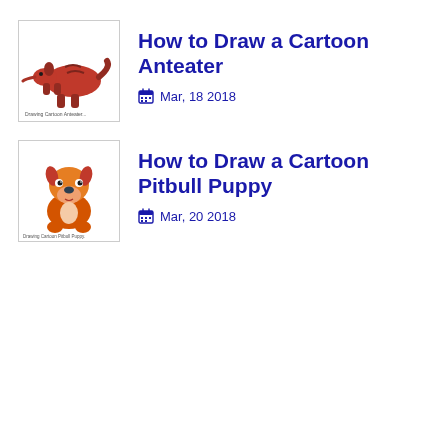[Figure (illustration): Thumbnail image of a cartoon anteater drawn in orange/red tones, walking pose]
How to Draw a Cartoon Anteater
Mar, 18 2018
[Figure (illustration): Thumbnail image of a cartoon pitbull puppy drawn in orange/red tones, sitting pose]
How to Draw a Cartoon Pitbull Puppy
Mar, 20 2018